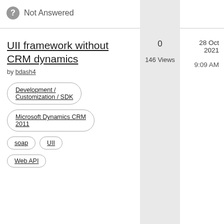Not Answered
UII framework without CRM dynamics
by bdash4
0
146 Views
28 Oct 2021
9:09 AM
Development / Customization / SDK
Microsoft Dynamics CRM 2011
soap
UII
Web API